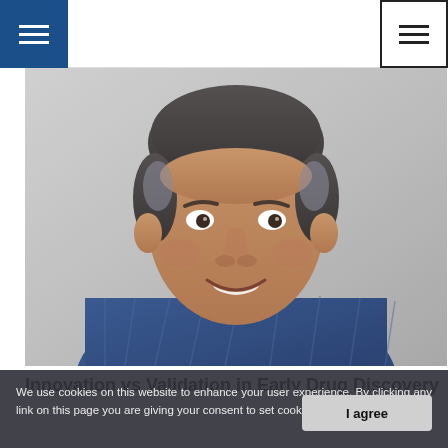Navigation bar with hamburger menus
[Figure (photo): Headshot of a middle-aged man with dark hair, smiling, wearing a blue checkered shirt, photographed against a light gray background]
Innovation vs Validation in Early Drug Discovery
We use cookies on this website to enhance your user experience. By clicking any link on this page you are giving your consent to set cookies. More info